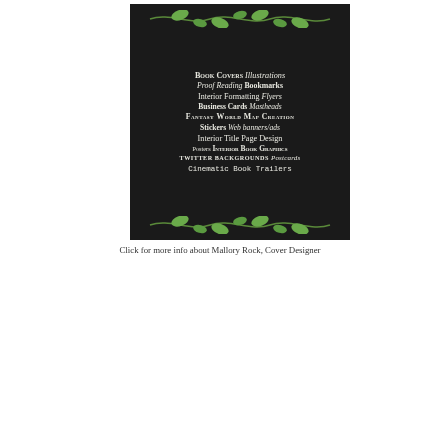[Figure (infographic): Dark-background advertisement panel for Mallory Rock cover design services. Green vine decorations at top and bottom borders. White and light-colored text listing services: Book Covers, Illustrations, Proof Reading, Bookmarks, Interior Formatting, Flyers, Business Cards, Mastheads, Fantasy World Map Creation, Stickers, Web banners/ads, Interior Title Page Design, Posters, Interior Book Graphics, Twitter Backgrounds, Postcards, Cinematic Book Trailers.]
Click for more info about Mallory Rock, Cover Designer